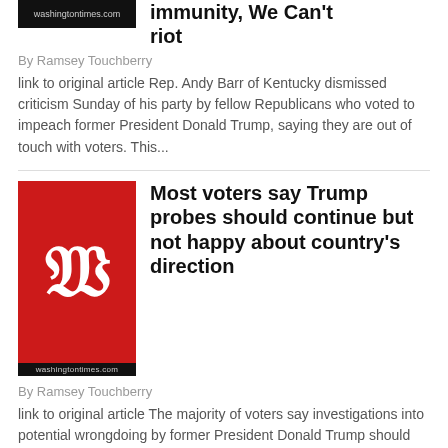[Figure (logo): Washington Times logo - dark strip with washingtontimes.com text]
immunity, We Can't riot
By Ramsey Touchberry
link to original article Rep. Andy Barr of Kentucky dismissed criticism Sunday of his party by fellow Republicans who voted to impeach former President Donald Trump, saying they are out of touch with voters. This...
[Figure (logo): Washington Times logo - red box with gothic W and washingtontimes.com text]
Most voters say Trump probes should continue but not happy about country's direction
By Ramsey Touchberry
link to original article The majority of voters say investigations into potential wrongdoing by former President Donald Trump should continue but also express concern about the country's future. This...
[Figure (logo): Washington Times logo - red box with gothic W partial]
Liz Cheney says she is 'ashamed b...